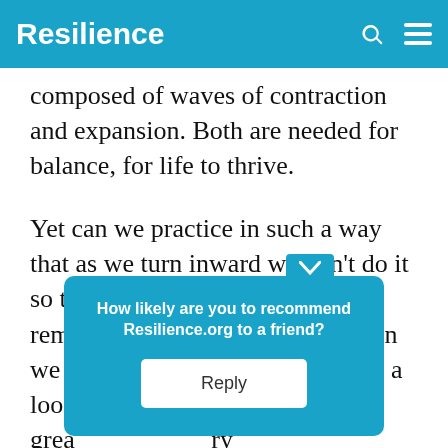Resilience
composed of waves of contraction and expansion. Both are needed for balance, for life to thrive.
Yet can we practice in such a way that as we turn inward we don't do it so tightly; that as we close we remember to open once again? Can we live softly and spaciously with a loose g… imes of grea… ry openi… ore
How likely are you to recommend Resilience.org to a friend? Reply